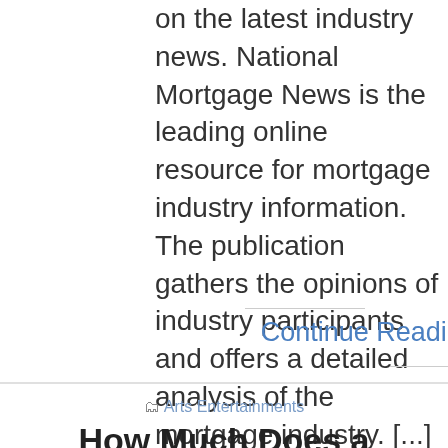on the latest industry news. National Mortgage News is the leading online resource for mortgage industry information. The publication gathers the opinions of industry participants and offers a detailed analysis of the mortgage industry. [...]
Continue Reading ..
Arts Entertainments
How Much Does a